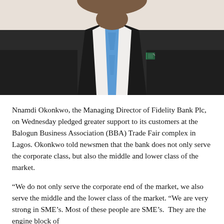[Figure (photo): Photo of Nnamdi Okonkwo from the chest up, wearing a dark suit, white shirt, blue tie, and a small green/blue Fidelity Bank lapel pin on his left lapel. His face/head is cropped at the top.]
Nnamdi Okonkwo, the Managing Director of Fidelity Bank Plc, on Wednesday pledged greater support to its customers at the Balogun Business Association (BBA) Trade Fair complex in Lagos. Okonkwo told newsmen that the bank does not only serve the corporate class, but also the middle and lower class of the market.
“We do not only serve the corporate end of the market, we also serve the middle and the lower class of the market. “We are very strong in SME’s. Most of these people are SME’s. They are the engine block of